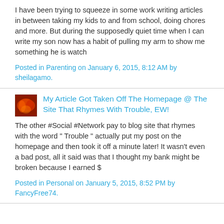I have been trying to squeeze in some work writing articles in between taking my kids to and from school, doing chores and more. But during the supposedly quiet time when I can write my son now has a habit of pulling my arm to show me something he is watch
Posted in Parenting on January 6, 2015, 8:12 AM by sheilagamo.
My Article Got Taken Off The Homepage @ The Site That Rhymes With Trouble, EW!
The other #Social #Network pay to blog site that rhymes with the word " Trouble " actually put my post on the homepage and then took it off a minute later! It wasn't even a bad post, all it said was that I thought my bank might be broken because I earned $
Posted in Personal on January 5, 2015, 8:52 PM by FancyFree74.